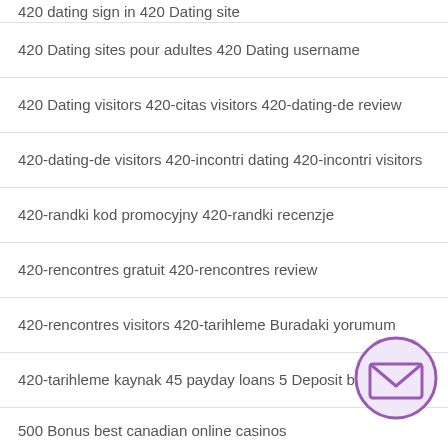420 dating sign in 420 Dating site
420 Dating sites pour adultes 420 Dating username
420 Dating visitors 420-citas visitors 420-dating-de review
420-dating-de visitors 420-incontri dating 420-incontri visitors
420-randki kod promocyjny 420-randki recenzje
420-rencontres gratuit 420-rencontres review
420-rencontres visitors 420-tarihleme Buradaki yorumum
420-tarihleme kaynak 45 payday loans 5 Deposit best
500 Bonus best canadian online casinos